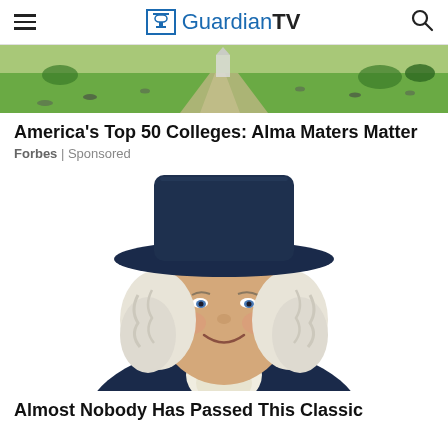GuardianTV
[Figure (photo): Aerial or wide-angle photo of a college campus with green lawn, walkways, and people scattered across the grounds.]
America's Top 50 Colleges: Alma Maters Matter
Forbes | Sponsored
[Figure (illustration): Illustrated portrait of a colonial-era figure (Quaker Oats man style) with white curly wig, dark wide-brim hat, white ruffled collar, and dark coat, smiling.]
Almost Nobody Has Passed This Classic